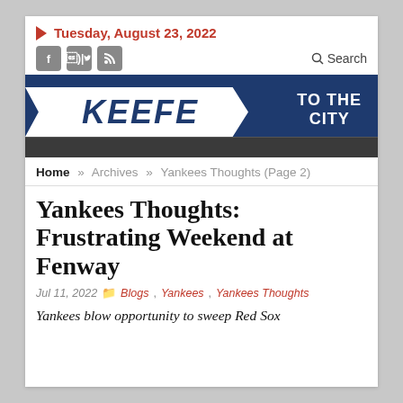Tuesday, August 23, 2022
[Figure (logo): Keefe to the City blog banner logo — dark blue background with white ribbon containing 'KEEFE' in bold italic blue letters, and 'TO THE CITY' in white bold text on the right]
Home » Archives » Yankees Thoughts (Page 2)
Yankees Thoughts: Frustrating Weekend at Fenway
Jul 11, 2022  Blogs, Yankees, Yankees Thoughts
Yankees blow opportunity to sweep Red Sox